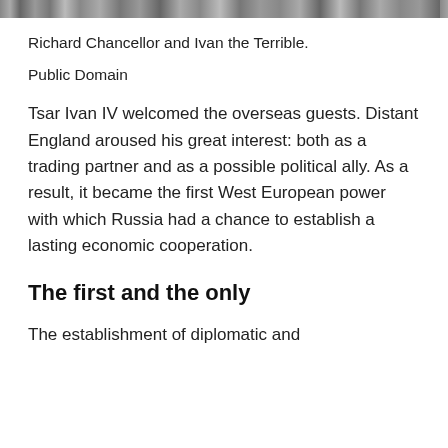[Figure (photo): Top portion of a black and white historical photograph showing Richard Chancellor and Ivan the Terrible.]
Richard Chancellor and Ivan the Terrible.
Public Domain
Tsar Ivan IV welcomed the overseas guests. Distant England aroused his great interest: both as a trading partner and as a possible political ally. As a result, it became the first West European power with which Russia had a chance to establish a lasting economic cooperation.
The first and the only
The establishment of diplomatic and